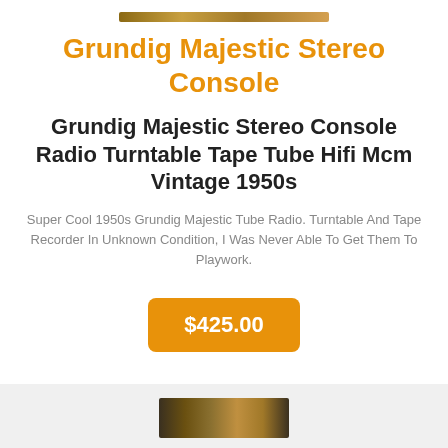[Figure (photo): Top partial image strip of vintage Grundig stereo console]
Grundig Majestic Stereo Console
Grundig Majestic Stereo Console Radio Turntable Tape Tube Hifi Mcm Vintage 1950s
Super Cool 1950s Grundig Majestic Tube Radio. Turntable And Tape Recorder In Unknown Condition, I Was Never Able To Get Them To Playwork.
$425.00
[Figure (photo): Bottom partial image strip of vintage Grundig stereo console]